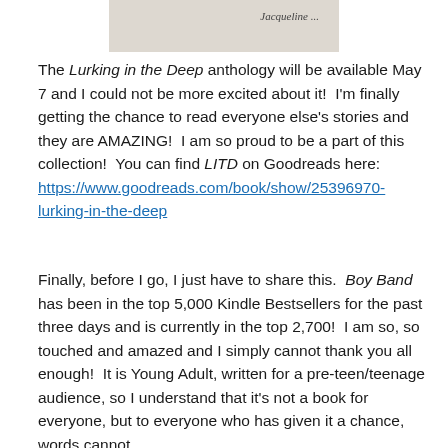[Figure (photo): Partial book cover image showing italic text 'Jacqueline...' on a light gray/beige background]
The Lurking in the Deep anthology will be available May 7 and I could not be more excited about it!  I'm finally getting the chance to read everyone else's stories and they are AMAZING!  I am so proud to be a part of this collection!  You can find LITD on Goodreads here: https://www.goodreads.com/book/show/25396970-lurking-in-the-deep
Finally, before I go, I just have to share this.  Boy Band has been in the top 5,000 Kindle Bestsellers for the past three days and is currently in the top 2,700!  I am so, so touched and amazed and I simply cannot thank you all enough!  It is Young Adult, written for a pre-teen/teenage audience, so I understand that it's not a book for everyone, but to everyone who has given it a chance, words cannot